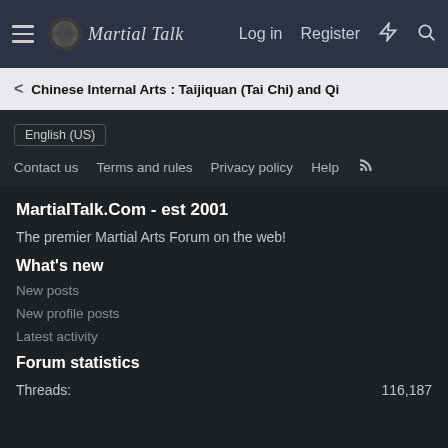Martial Talk — Log in   Register
Chinese Internal Arts : Taijiquan (Tai Chi) and Qi
English (US)
Contact us   Terms and rules   Privacy policy   Help
MartialTalk.Com - est 2001
The premier Martial Arts Forum on the web!
What's new
New posts
New profile posts
Latest activity
Forum statistics
Threads:   116,187